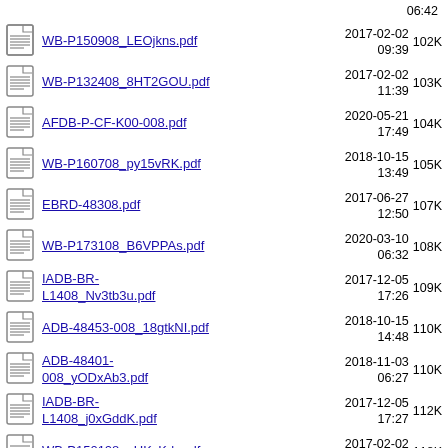WB-P150908_LEOjkns.pdf  2017-02-02 09:39  102K
WB-P132408_8HT2GOU.pdf  2017-02-02 11:39  103K
AFDB-P-CF-K00-008.pdf  2020-05-21 17:49  104K
WB-P160708_py15vRK.pdf  2018-10-15 13:49  105K
EBRD-48308.pdf  2017-06-27 12:50  107K
WB-P173108_B6VPPAs.pdf  2020-03-10 06:32  108K
IADB-BR-L1408_Nv3tb3u.pdf  2017-12-05 17:26  109K
ADB-48453-008_18gtkNI.pdf  2018-10-15 14:48  110K
ADB-48401-008_yODxAb3.pdf  2018-11-03 06:27  110K
IADB-BR-L1408_j0xGddK.pdf  2017-12-05 17:27  112K
WB-P150108_uUKyKrb.pdf  2017-02-02 10:37  118K